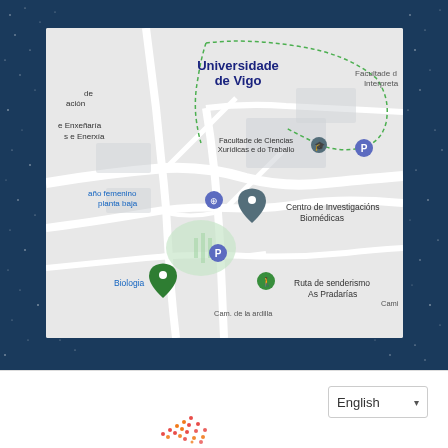[Figure (map): Google Maps screenshot showing the campus of Universidade de Vigo, Spain. Features labeled locations including: Universidade de Vigo, Facultade de Ciencias Xurídicas e do Traballo, Centro de Investigacións Biomédicas, Facultade de Interpretación (partial), Enxeñaría e Enerxía (partial), Baño femenino planta baja, Biologia, Ruta de senderismo As Pradarías, Cam. de la ardilla. Map markers include parking (P) icons, a blue location pin, green location pins, and a hiking icon.]
[Figure (logo): Partially visible red/orange dot-matrix logo at bottom center of page]
English